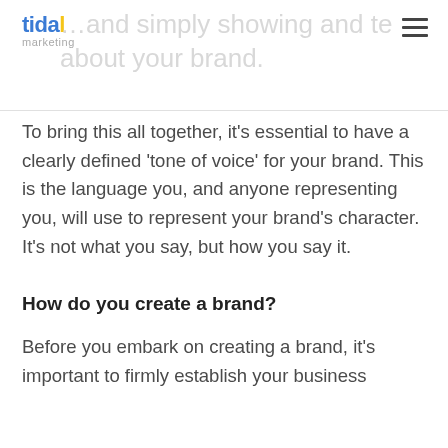tidal marketing — ...and simply showing and telling customers about your brand.
To bring this all together, it's essential to have a clearly defined 'tone of voice' for your brand. This is the language you, and anyone representing you, will use to represent your brand's character. It's not what you say, but how you say it.
How do you create a brand?
Before you embark on creating a brand, it's important to firmly establish your business